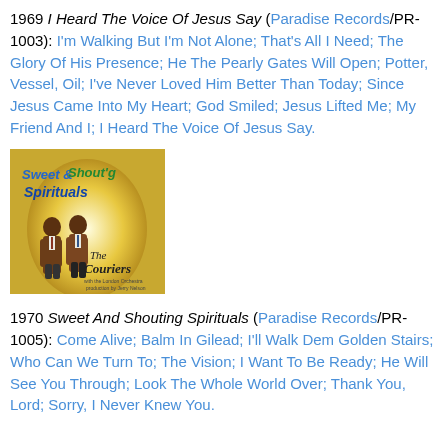1969 I Heard The Voice Of Jesus Say (Paradise Records/PR-1003): I'm Walking But I'm Not Alone; That's All I Need; The Glory Of His Presence; He The Pearly Gates Will Open; Potter, Vessel, Oil; I've Never Loved Him Better Than Today; Since Jesus Came Into My Heart; God Smiled; Jesus Lifted Me; My Friend And I; I Heard The Voice Of Jesus Say.
[Figure (photo): Album cover for Sweet And Shouting Spirituals by The Couriers, showing two men in brown suits against a yellow background with stylized text.]
1970 Sweet And Shouting Spirituals (Paradise Records/PR-1005): Come Alive; Balm In Gilead; I'll Walk Dem Golden Stairs; Who Can We Turn To; The Vision; I Want To Be Ready; He Will See You Through; Look The Whole World Over; Thank You, Lord; Sorry, I Never Knew You.